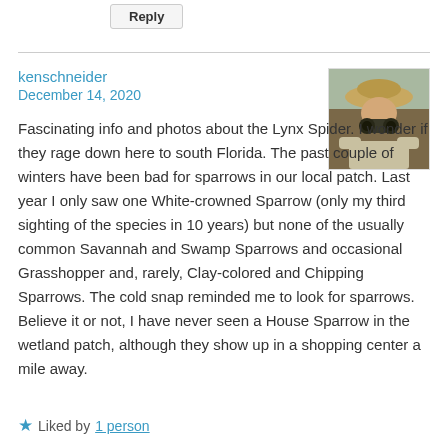[Figure (screenshot): Reply button, light gray with border]
[Figure (photo): Profile photo of a person looking through binoculars, wearing a hat, outdoor setting]
kenschneider
December 14, 2020
Fascinating info and photos about the Lynx Spider. I wonder if they rage down here to south Florida. The past couple of winters have been bad for sparrows in our local patch. Last year I only saw one White-crowned Sparrow (only my third sighting of the species in 10 years) but none of the usually common Savannah and Swamp Sparrows and occasional Grasshopper and, rarely, Clay-colored and Chipping Sparrows. The cold snap reminded me to look for sparrows. Believe it or not, I have never seen a House Sparrow in the wetland patch, although they show up in a shopping center a mile away.
★ Liked by 1 person